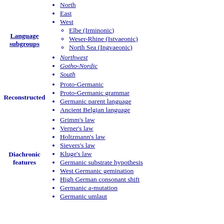North
East
West
Elbe (Irminonic)
Weser-Rhine (Istvaeonic)
North Sea (Ingvaeonic)
Language subgroups
Northwest
Gotho-Nordic
South
Reconstructed
Proto-Germanic
Proto-Germanic grammar
Germanic parent language
Ancient Belgian language
Diachronic features
Grimm's law
Verner's law
Holtzmann's law
Sievers's law
Kluge's law
Germanic substrate hypothesis
West Germanic gemination
High German consonant shift
Germanic a-mutation
Germanic umlaut